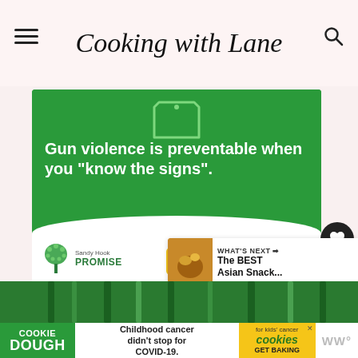Cooking with Lane
[Figure (infographic): Sandy Hook Promise advertisement: green background with outline of a tablet/phone icon at top, white bold text 'Gun violence is preventable when you "know the signs".', Sandy Hook Promise logo at bottom left, yellow 'Learn More' button at bottom right]
[Figure (infographic): What's Next sidebar with thumbnail photo and text 'The BEST Asian Snack...']
[Figure (infographic): Bottom image partial: green bamboo or similar image partially visible]
[Figure (infographic): Cookie Dough advertisement banner: green badge with COOKIE DOUGH text, center text 'Childhood cancer didn't stop for COVID-19.', right side cookies for kids cancer yellow badge with GET BAKING, WW logo on far right]